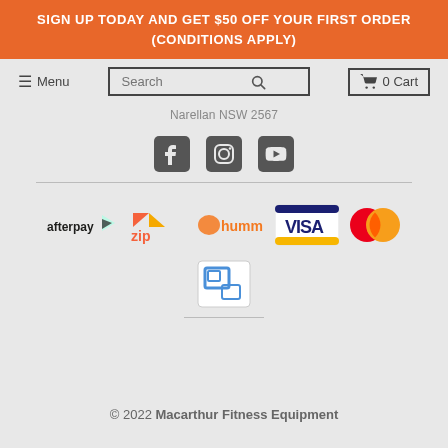SIGN UP TODAY AND GET $50 OFF YOUR FIRST ORDER (CONDITIONS APPLY)
[Figure (screenshot): Navigation bar with Menu hamburger icon, Search box with magnifying glass icon, and 0 Cart button]
Narellan NSW 2567
[Figure (infographic): Social media icons: Facebook, Instagram, YouTube]
[Figure (infographic): Payment method logos: afterpay, zip, humm, VISA, Mastercard]
[Figure (logo): Small icon/logo with bracket design]
© 2022 Macarthur Fitness Equipment